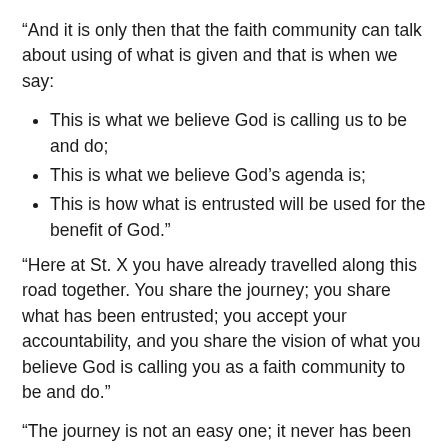“And it is only then that the faith community can talk about using of what is given and that is when we say:
This is what we believe God is calling us to be and do;
This is what we believe God’s agenda is;
This is how what is entrusted will be used for the benefit of God.”
“Here at St. X you have already travelled along this road together. You share the journey; you share what has been entrusted; you accept your accountability, and you share the vision of what you believe God is calling you as a faith community to be and do.”
“The journey is not an easy one; it never has been for those who take it seriously. But there comes a moment on the